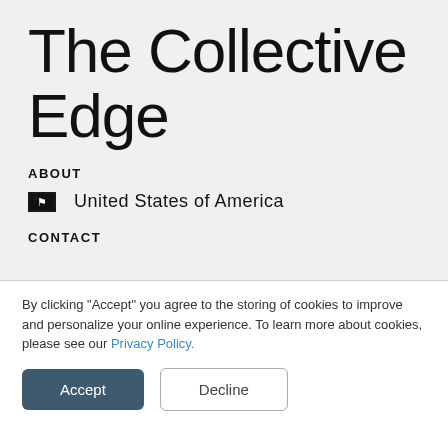The Collective Edge
ABOUT
United States of America
CONTACT
By clicking “Accept” you agree to the storing of cookies to improve and personalize your online experience. To learn more about cookies, please see our Privacy Policy.